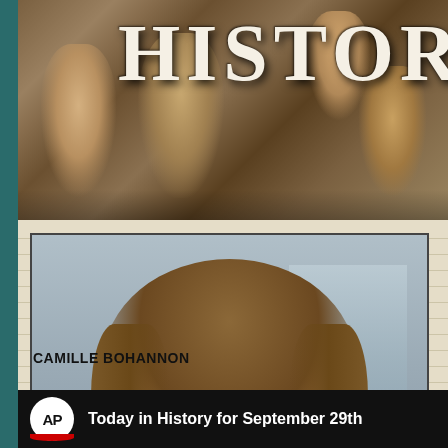[Figure (photo): Top banner with HISTORY title text overlaid on a sepia-tone historical photo collage]
[Figure (photo): Headshot photo of Camille Bohannon, a woman with shoulder-length brown hair, smiling, wearing an orange and dark floral jacket]
CAMILLE BOHANNON
[Figure (photo): AP Today in History for September 29th banner with AP logo on dark background]